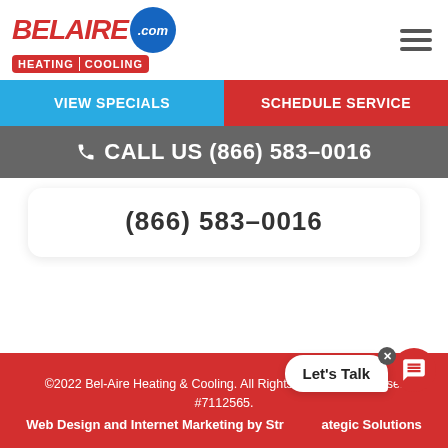[Figure (logo): BelAire.com Heating Cooling logo with red text and blue circle]
VIEW SPECIALS
SCHEDULE SERVICE
CALL US (866) 583-0016
(866) 583-0016
©2022 Bel-Aire Heating & Cooling. All Rights Reserved. License: #7112565.
Web Design and Internet Marketing by Strategic Solutions